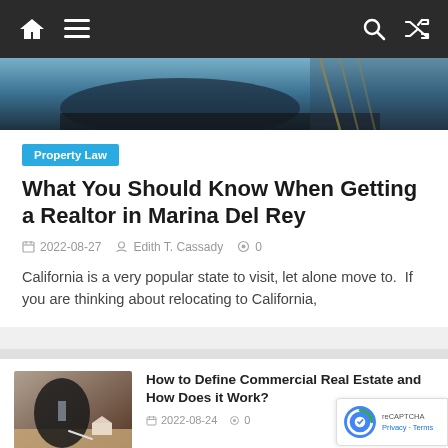Navigation bar with home, menu, search, shuffle icons
[Figure (photo): Hero image showing dark blue/teal background, partial view of a car and railing]
Property Law
What You Should Know When Getting a Realtor in Marina Del Rey
2022-08-27  Edith T. Cassady  0
California is a very popular state to visit, let alone move to.  If you are thinking about relocating to California,
[Figure (photo): Thumbnail photo of a businessman in a suit writing at a desk with a small model house]
How to Define Commercial Real Estate and How Does it Work?
2022-08-24  0
[Figure (photo): Thumbnail health-related image with word cloud containing 'pain', 'health', 'care' and related words]
What is Pain Management?
2022-08-24  0